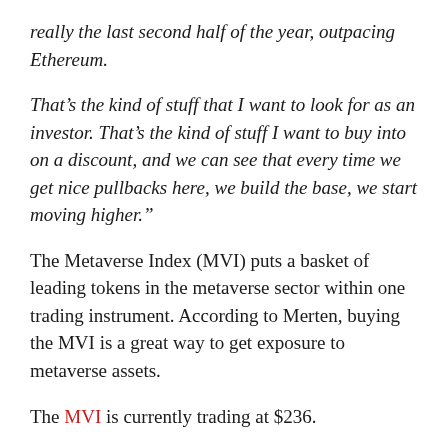really the last second half of the year, outpacing Ethereum.
That’s the kind of stuff that I want to look for as an investor. That’s the kind of stuff I want to buy into on a discount, and we can see that every time we get nice pullbacks here, we build the base, we start moving higher.”
The Metaverse Index (MVI) puts a basket of leading tokens in the metaverse sector within one trading instrument. According to Merten, buying the MVI is a great way to get exposure to metaverse assets.
The MVI is currently trading at $236.